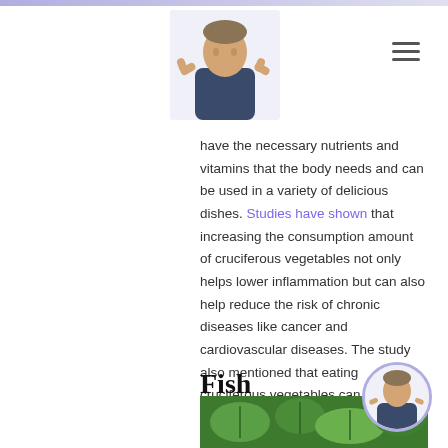[Figure (photo): Doctor in dark scrubs giving thumbs up, used as website header logo]
[Figure (illustration): Hamburger menu icon (three horizontal lines)]
have the necessary nutrients and vitamins that the body needs and can be used in a variety of delicious dishes. Studies have shown that increasing the consumption amount of cruciferous vegetables not only helps lower inflammation but can also help reduce the risk of chronic diseases like cancer and cardiovascular diseases. The study also mentioned that eating cruciferous vegetables can also activate the body's Nrf2 factors in the body.
Fish
[Figure (photo): Green leafy vegetables/fish image at the bottom of the page]
[Figure (photo): Small circular avatar of doctor in dark scrubs giving thumbs up]